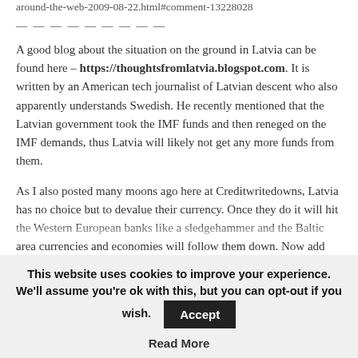around-the-web-2009-08-22.html#comment-13228028
— — — — — — — — —
A good blog about the situation on the ground in Latvia can be found here – https://thoughtsfromlatvia.blogspot.com. It is written by an American tech journalist of Latvian descent who also apparently understands Swedish. He recently mentioned that the Latvian government took the IMF funds and then reneged on the IMF demands, thus Latvia will likely not get any more funds from them.
As I also posted many moons ago here at Creditwritedowns, Latvia has no choice but to devalue their currency. Once they do it will hit the Western European banks like a sledgehammer and the Baltic area currencies and economies will follow them down. Now add similar problems, albeit currently at lower levels,
This website uses cookies to improve your experience. We'll assume you're ok with this, but you can opt-out if you wish.
Accept
Read More